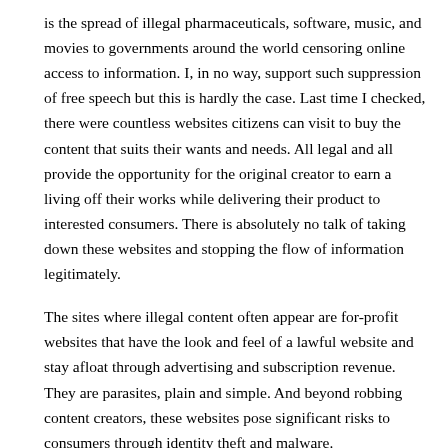is the spread of illegal pharmaceuticals, software, music, and movies to governments around the world censoring online access to information. I, in no way, support such suppression of free speech but this is hardly the case. Last time I checked, there were countless websites citizens can visit to buy the content that suits their wants and needs. All legal and all provide the opportunity for the original creator to earn a living off their works while delivering their product to interested consumers. There is absolutely no talk of taking down these websites and stopping the flow of information legitimately.
The sites where illegal content often appear are for-profit websites that have the look and feel of a lawful website and stay afloat through advertising and subscription revenue. They are parasites, plain and simple. And beyond robbing content creators, these websites pose significant risks to consumers through identity theft and malware.